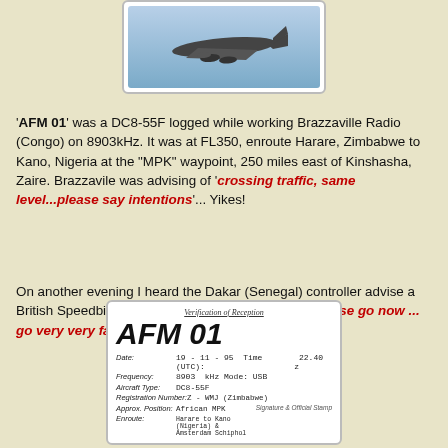[Figure (photo): Photo of a DC8-55F aircraft in flight against a light blue sky background]
'AFM 01' was a DC8-55F logged while working Brazzaville Radio (Congo) on 8903kHz. It was at FL350, enroute Harare, Zimbabwe to Kano, Nigeria at the "MPK" waypoint, 250 miles east of Kinshasha, Zaire. Brazzavile was advising of 'crossing traffic, same level...please say intentions'... Yikes!
On another evening I heard the Dakar (Senegal) controller advise a British Speedbird 747 to 'go to flight level 330 ... please go now ... go very very fast'.
[Figure (photo): Verification of Reception card for AFM 01. Fields include: Date: 19-11-95, Time (UTC): 22.40z, Frequency: 8903 kHz, Mode: USB, Aircraft Type: DC8-55F, Registration Number: Z-WMJ (Zimbabwe), Approx. Position: African MPK, Enroute: Harare to Kano (Nigeria) & Amsterdam Schiphol. Contains a signature.]